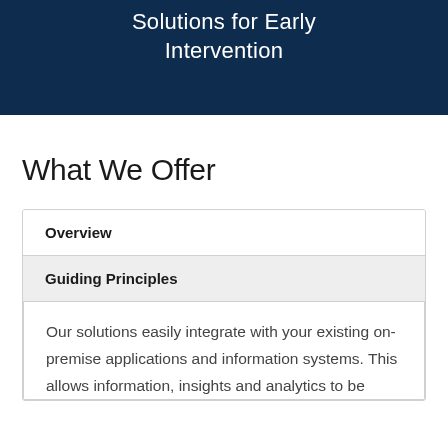Solutions for Early Intervention
What We Offer
Overview
Guiding Principles
Our solutions easily integrate with your existing on-premise applications and information systems. This allows information, insights and analytics to be